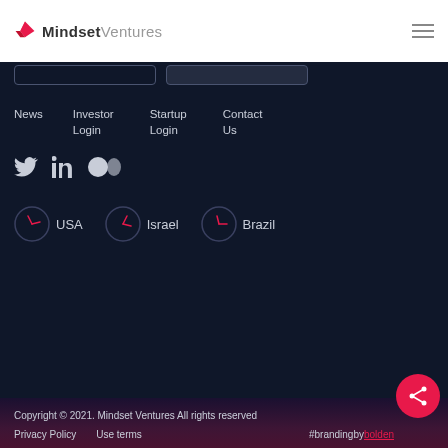Mindset Ventures
News
Investor Login
Startup Login
Contact Us
[Figure (other): Social media icons: Twitter, LinkedIn, Medium]
[Figure (other): Location clock icons with labels: USA, Israel, Brazil]
Copyright © 2021. Mindset Ventures All rights reserved
Privacy Policy   Use terms   #brandingbybolden